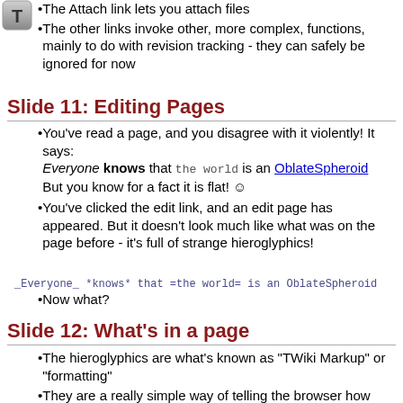[Figure (logo): Gray T icon button in top-left corner]
The Attach link lets you attach files
The other links invoke other, more complex, functions, mainly to do with revision tracking - they can safely be ignored for now
Slide 11: Editing Pages
You've read a page, and you disagree with it violently! It says: Everyone knows that the world is an OblateSpheroid But you know for a fact it is flat! ☺
You've clicked the edit link, and an edit page has appeared. But it doesn't look much like what was on the page before - it's full of strange hieroglyphics!
_Everyone_ *knows* that =the world= is an OblateSpheroid
Now what?
Slide 12: What's in a page
The hieroglyphics are what's known as "TWiki Markup" or "formatting"
They are a really simple way of telling the browser how